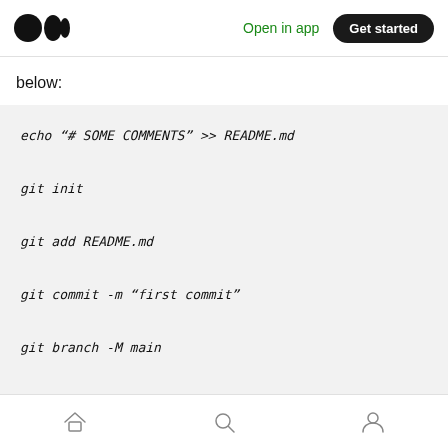Medium logo | Open in app | Get started
below:
echo “# SOME COMMENTS” >> README.md

git init

git add README.md

git commit -m “first commit”

git branch -M main

git remote add origin https://github.com/<your_github_username>/<your_repository_name>.git
Home | Search | Profile